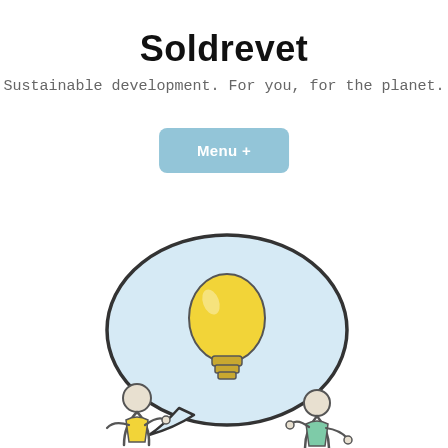Soldrevet
Sustainable development. For you, for the planet.
Menu +
[Figure (illustration): Hand-drawn illustration of a speech bubble containing a yellow lightbulb, with two stick-figure people on either side below — one wearing yellow on the left and one wearing green on the right, both with arms raised.]